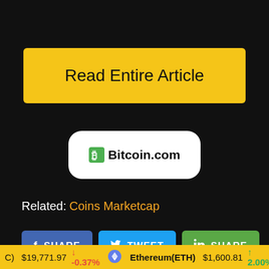Read Entire Article
[Figure (logo): Bitcoin.com logo on white rounded rectangle background]
Related: Coins Marketcap
SHARE TWEET SHARE (social buttons for Facebook, Twitter, LinkedIn)
(C) $19,771.97 ↓ -0.37%  Ethereum(ETH) $1,600.81 ↑ 2.00%